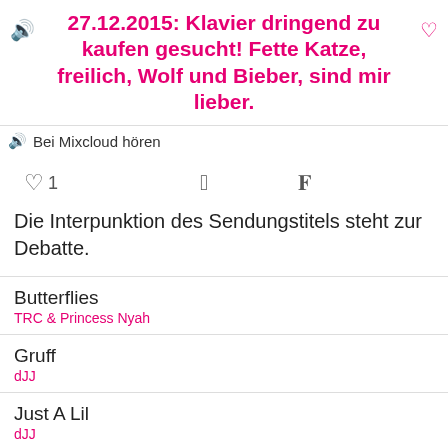27.12.2015: Klavier dringend zu kaufen gesucht! Fette Katze, freilich, Wolf und Bieber, sind mir lieber.
Bei Mixcloud hören
♡1  f  🐦
Die Interpunktion des Sendungstitels steht zur Debatte.
Butterflies
TRC & Princess Nyah
Gruff
dJJ
Just A Lil
dJJ
Running
Prayer